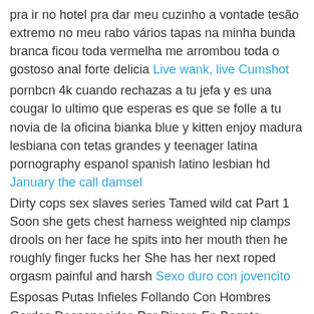pra ir no hotel pra dar meu cuzinho a vontade tes&atilde o extremo no meu rabo v&aacute rios tapas na minha bunda branca ficou toda vermelha me arrombou toda o gostoso anal forte delicia Live wank, live Cumshot
pornbcn 4k cuando rechazas a tu jefa y es una cougar lo ultimo que esperas es que se folle a tu novia de la oficina bianka blue y kitten enjoy madura lesbiana con tetas grandes y teenager latina pornography espanol spanish latino lesbian hd January the call damsel
Dirty cops sex slaves series Tamed wild cat Part 1 Soon she gets chest harness weighted nip clamps drools on her face he spits into her mouth then he roughly finger fucks her She has her next roped orgasm painful and harsh Sexo duro con jovencito
Esposas Putas Infieles Follando Con Hombres Gordos Desconocidos Por Dinero En Bogota Colombia Squirt Sexo Swinguer XXX Porn Sex Indian Bhabhi Cheating Whore Wives Fucking Fat Strangers For Money Full On